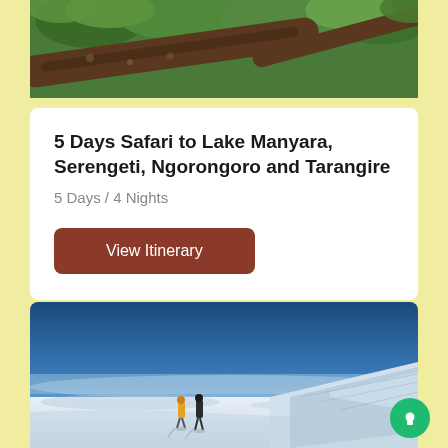[Figure (photo): Close-up photo of a large tree branch with green foliage in the background, appears to be a wildlife/safari nature scene]
5 Days Safari to Lake Manyara, Serengeti, Ngorongoro and Tarangire
5 Days / 4 Nights
View Itinerary
[Figure (photo): Panoramic mountain summit photo showing two hikers (one in yellow jacket, one in dark) walking on a snow-covered plateau with dramatic glacial ice formations and blue sky horizon, appears to be Kilimanjaro summit]